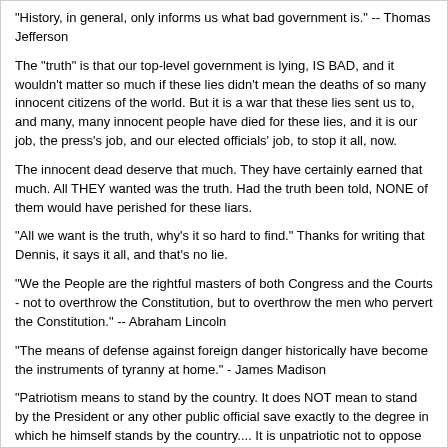"History, in general, only informs us what bad government is." -- Thomas Jefferson
The "truth" is that our top-level government is lying, IS BAD, and it wouldn't matter so much if these lies didn't mean the deaths of so many innocent citizens of the world. But it is a war that these lies sent us to, and many, many innocent people have died for these lies, and it is our job, the press's job, and our elected officials' job, to stop it all, now.
The innocent dead deserve that much. They have certainly earned that much. All THEY wanted was the truth. Had the truth been told, NONE of them would have perished for these liars.
"All we want is the truth, why's it so hard to find." Thanks for writing that Dennis, it says it all, and that's no lie.
"We the People are the rightful masters of both Congress and the Courts - not to overthrow the Constitution, but to overthrow the men who pervert the Constitution." -- Abraham Lincoln
"The means of defense against foreign danger historically have become the instruments of tyranny at home." - James Madison
"Patriotism means to stand by the country. It does NOT mean to stand by the President or any other public official save exactly to the degree in which he himself stands by the country.... It is unpatriotic not to oppose him to the exact extent that by inefficiency or otherwise he fails in his duty to stand by the country." -- Theodore Roosevelt
George Bush, Dick Cheney, Donald Rumsfeld, and Condoleezza Rice ALL SWORE to abide by and obey the Constitution. They have all failed to do so in the worst possible way. They LIED to send us to war, and countless thousands to their deaths. That's NO lie.
The "TRUTH" ... it's out there. All we want is the truth. Why's it so hard to find?
Ward Reilly is the S.E. National Contact for Vietnam Veterans Against the War,